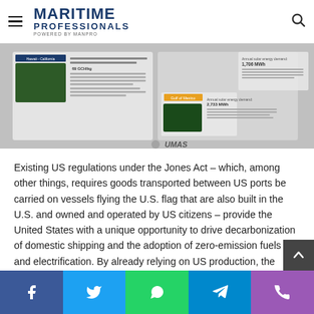MARITIME PROFESSIONALS powered by MANPRO
[Figure (screenshot): UMAS maritime energy demand infographic showing Hawaii-California and Gulf of Mexico routes with annual solar energy demand data]
Existing US regulations under the Jones Act – which, among other things, requires goods transported between US ports be carried on vessels flying the U.S. flag that are also built in the U.S. and owned and operated by US citizens – provide the United States with a unique opportunity to drive decarbonization of domestic shipping and the adoption of zero-emission fuels and electrification. By already relying on US production, the domestic fleet can introduce new zero-carbon vessels as older vessels are decommissioned or
Social share bar: Facebook, Twitter, WhatsApp, Telegram, Phone